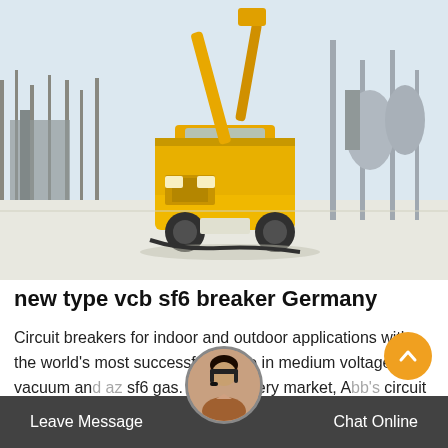[Figure (photo): Yellow utility truck with aerial lift equipment at an electrical substation in winter conditions. Industrial equipment visible in background.]
new type vcb sf6 breaker Germany
Circuit breakers for indoor and outdoor applications with the world's most successfull range in medium voltage vacuum and az sf6 gas. Across every market, A circuit breakers occupy leading position thanks to the n reputation for reliability, performance and long life. CBs from ABB are available for